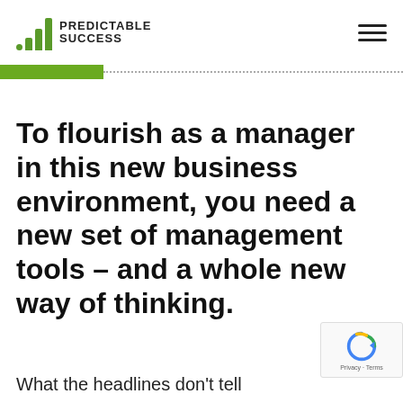PREDICTABLE SUCCESS
To flourish as a manager in this new business environment, you need a new set of management tools – and a whole new way of thinking.
What the headlines don't tell